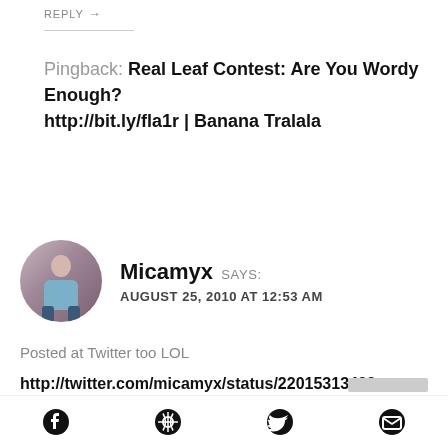REPLY →
Pingback: Real Leaf Contest: Are You Wordy Enough? http://bit.ly/fla1r | Banana Tralala
Micamyx SAYS: AUGUST 25, 2010 AT 12:53 AM
Posted at Twitter too LOL
http://twitter.com/micamyx/status/22015313493
micamyx (at) gmail.com 😐
REPLY →